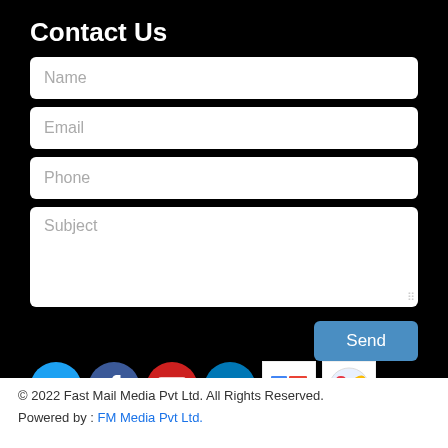Contact Us
[Figure (screenshot): Contact form with Name, Email, Phone, Subject fields and Send button on black background, plus social media icons (Twitter, Facebook, YouTube, LinkedIn, Google News, and one more)]
© 2022 Fast Mail Media Pvt Ltd. All Rights Reserved.
Powered by : FM Media Pvt Ltd.